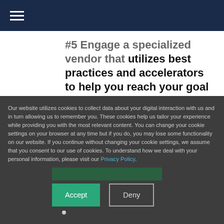Navigation menu header bar
#5 Engage a specialized vendor that utilizes best practices and accelerators to help you reach your goal faster
Interested in learning more? Our advisory note provides detailed migration strategies and modern approach to help you succeed in your migration journey
Our website utilizes cookies to collect data about your digital interaction with us and in turn allowing us to remember you. These cookies help us tailor your experience while providing you with the most relevant content. You can change your cookie settings on your browser at any time but if you do, you may lose some functionality on our website. If you continue without changing your cookie settings, we assume that you consent to our use of cookies. To understand how we deal with your personal information, please visit our Privacy Policy.